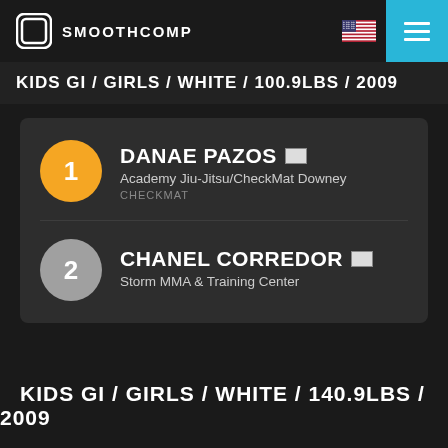SMOOTHCOMP
KIDS GI / GIRLS / WHITE / 100.9LBS / 2009
1. DANAE PAZOS - Academy Jiu-Jitsu/CheckMat Downey - CHECKMAT
2. CHANEL CORREDOR - Storm MMA & Training Center
KIDS GI / GIRLS / WHITE / 140.9LBS / 2009